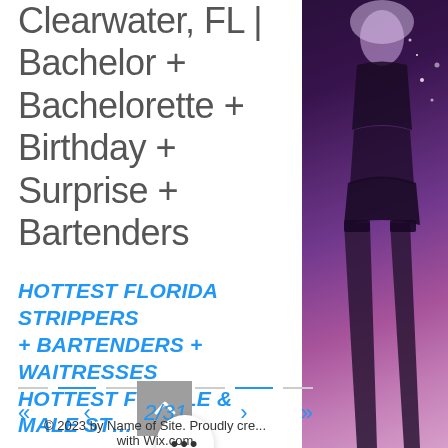Clearwater, FL | Bachelor + Bachelorette + Birthday + Surprise + Bartenders
HOTTEST FLORIDA STRIPPERS + BARTENDERS + WAITRESSES HOTTEST FEMALE & MALE ST…
[Figure (photo): Photo of a woman in black lingerie and stockings, viewed from behind, against a dark purple/violet background with light sparkles]
2/31
© 2023 by Name of Site. Proudly cre... with Wix.com